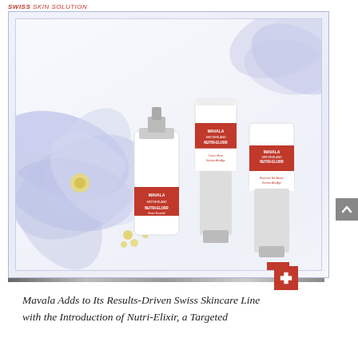SWISS SKIN SOLUTION
[Figure (photo): Mavala Nutri-Elixir skincare product line featuring three products: Anti-Age Nutrition Essential Serum, Ultimate Cream for Face and Eyes, and Absolute Night Balm, displayed against a blue floral background with decorative flowers and botanical elements. A red Swiss cross badge appears in the lower right of the image frame. Products show MAVALA Switzerland branding with pink and white packaging.]
Mavala Adds to Its Results-Driven Swiss Skincare Line with the Introduction of Nutri-Elixir, a Targeted